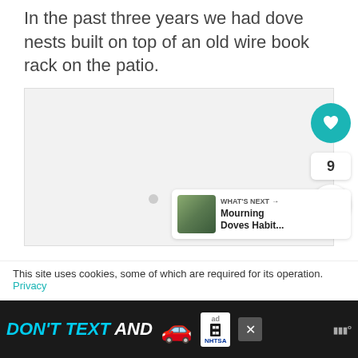In the past three years we had dove nests built on top of an old wire book rack on the patio.
[Figure (photo): Light gray placeholder image area with three gray loading dots in the center, and social interaction buttons (heart, count 9, share) on the right side, and a 'WHAT'S NEXT' card with 'Mourning Doves Habit...' in the bottom right corner.]
This site uses cookies, some of which are required for its operation. Privacy
[Figure (other): Advertisement banner: 'DON'T TEXT AND' with a red car emoji, ad/NHTSA logo, close button, and weather widget icons on the right.]